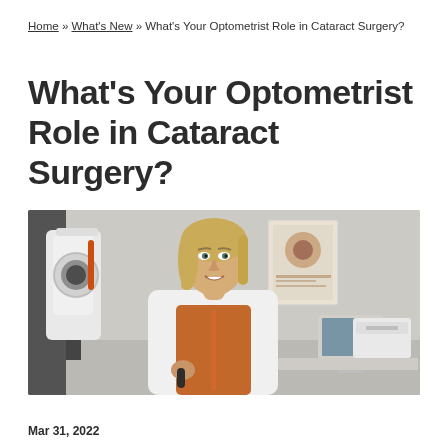Home » What's New » What's Your Optometrist Role in Cataract Surgery?
What's Your Optometrist Role in Cataract Surgery?
[Figure (photo): Female optometrist in white lab coat and orange shirt smiling in an optometry clinic with slit-lamp equipment on the left, eye anatomy posters and a computer monitor visible in the background.]
Mar 31, 2022